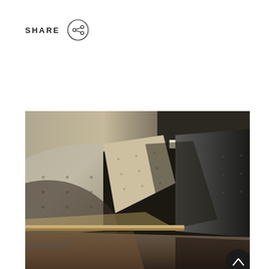SHARE
[Figure (photo): Interior architectural photograph showing a brutalist concrete space with curved ceiling, angular walls with tie-hole grid pattern, a long wooden bench or shelf, and dramatic light casting diagonal shadows across the concrete surfaces. Dark tones on right side contrasting with illuminated concrete on left.]
29/03/2012